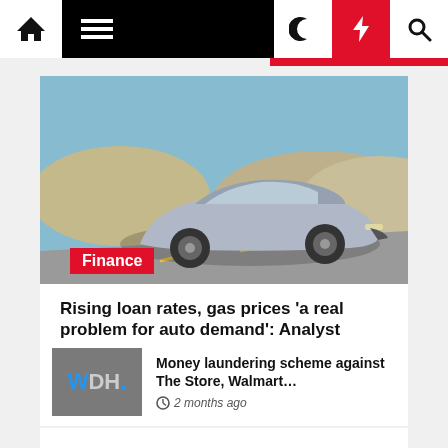Navigation bar with home, menu, moon, bolt, search icons
[Figure (photo): Chevrolet Bolt EV electric car driving on a road with sandy hills in the background, blue sky]
Finance
Rising loan rates, gas prices 'a real problem for auto demand': Analyst
2 months ago
[Figure (logo): WDH. logo on grey background]
Money laundering scheme against The Store, Walmart…
2 months ago